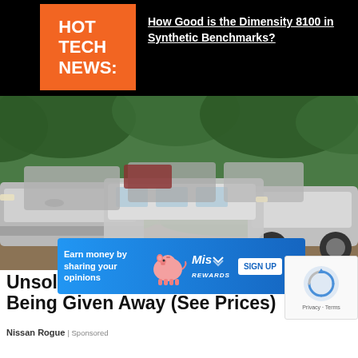HOT TECH NEWS:
How Good is the Dimensity 8100 in Synthetic Benchmarks?
[Figure (photo): Large parking lot filled with rows of silver Nissan Rogue SUVs, with green trees in the background]
[Figure (infographic): Blue advertisement banner: 'Earn money by sharing your opinions' with pink piggy bank, Mis Rewards logo, and SIGN UP button]
[Figure (other): Google reCAPTCHA widget with spinning logo and Privacy - Terms text]
Unsold ... Being Given Away (See Prices)
Nissan Rogue | Sponsored